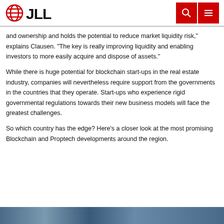JLL
and ownership and holds the potential to reduce market liquidity risk," explains Clausen. "The key is really improving liquidity and enabling investors to more easily acquire and dispose of assets."
While there is huge potential for blockchain start-ups in the real estate industry, companies will nevertheless require support from the governments in the countries that they operate. Start-ups who experience rigid governmental regulations towards their new business models will face the greatest challenges.
So which country has the edge? Here’s a closer look at the most promising Blockchain and Proptech developments around the region.
[Figure (photo): Partial image strip visible at bottom of page]